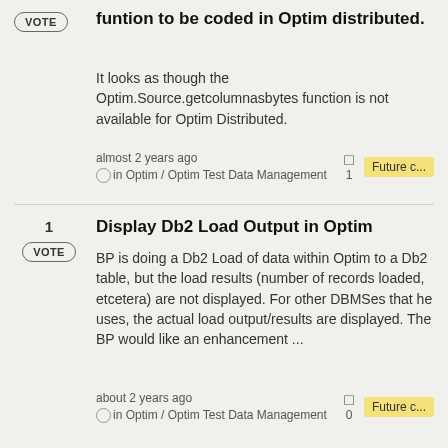funtion to be coded in Optim distributed.
It looks as though the Optim.Source.getcolumnasbytes function is not available for Optim Distributed.
almost 2 years ago in Optim / Optim Test Data Management · 1 comment · Future c...
Display Db2 Load Output in Optim
BP is doing a Db2 Load of data within Optim to a Db2 table, but the load results (number of records loaded, etcetera) are not displayed. For other DBMSes that he uses, the actual load output/results are displayed. The BP would like an enhancement ...
about 2 years ago in Optim / Optim Test Data Management · 0 comments · Future c...